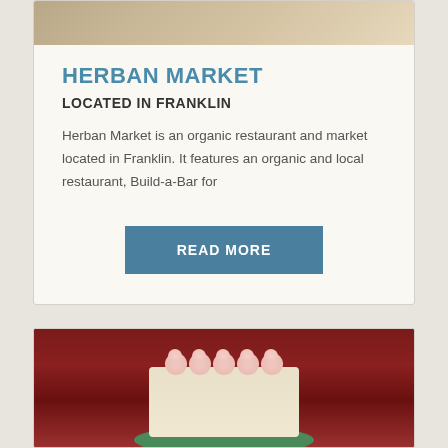[Figure (photo): Top portion of a food/ingredient photo, partially cropped at the top of the card]
HERBAN MARKET
LOCATED IN FRANKLIN
Herban Market is an organic restaurant and market located in Franklin. It features an organic and local restaurant, Build-a-Bar for
READ MORE
[Figure (photo): Photo of a decorated white cake with pink rosette frosting on top, sitting on a green plate, with a dark red/maroon background]